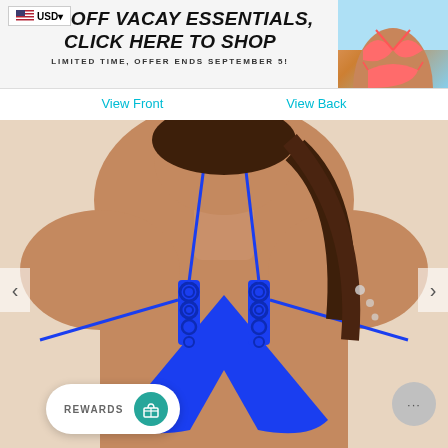USD
[Figure (photo): Banner advertisement showing 20% OFF VACAY ESSENTIALS, CLICK HERE TO SHOP. Limited time, offer ends September 5. Woman in coral bikini on right side.]
View Front
View Back
[Figure (photo): Close-up photo of a woman wearing a royal blue crochet triangle bikini top with halter straps and decorative circular lace detail at the cups. White background.]
REWARDS
...